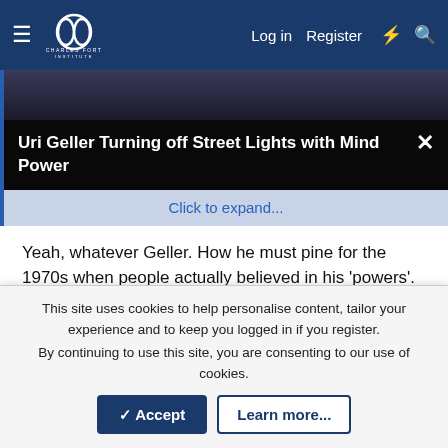Charles Fort Institute — Log in | Register
[Figure (screenshot): Collapsed embed with title: Uri Geller Turning off Street Lights with Mind Power, with a close (X) button and a 'Click to expand...' link]
Yeah, whatever Geller. How he must pine for the 1970s when people actually believed in his 'powers'.
There was a book written on this subject (SLIders, I think it was called). It was rather poorly written and lacked any real scientific basis. That said, I have witnessed this effect in the past but not lately, have streetlamps changed?
Mythopoeika
I am a meat popsicle
This site uses cookies to help personalise content, tailor your experience and to keep you logged in if you register.
By continuing to use this site, you are consenting to our use of cookies.